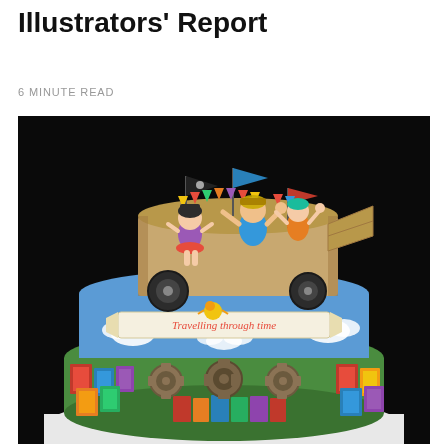Illustrators' Report
6 MINUTE READ
[Figure (photo): A decorative celebration cake with multiple tiers. The top tier features fondant figurines of children sitting on a cardboard-box vehicle with flags, gears, and colorful bunting. A banner reads 'Travelling through time'. The bottom tier is covered in miniature book covers and clockwork/gear decorations on a green fondant base, all set against a black background.]